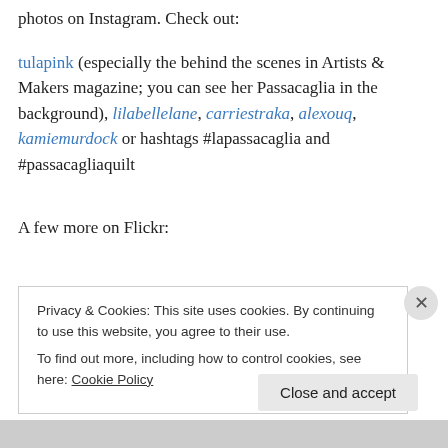photos on Instagram. Check out:
tulapink (especially the behind the scenes in Artists & Makers magazine; you can see her Passacaglia in the background), lilabellelane, carriestraka, alexouq, kamiemurdock or hashtags #lapassacaglia and #passacagliaquilt
A few more on Flickr:
Privacy & Cookies: This site uses cookies. By continuing to use this website, you agree to their use. To find out more, including how to control cookies, see here: Cookie Policy
Close and accept